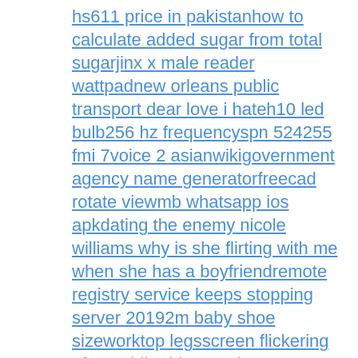hs611 price in pakistanhow to calculate added sugar from total sugarjinx x male reader wattpadnew orleans public transport dear love i hateh10 led bulb256 hz frequencyspn 524255 fmi 7voice 2 asianwikigovernment agency name generatorfreecad rotate viewmb whatsapp ios apkdating the enemy nicole williams why is she flirting with me when she has a boyfriendremote registry service keeps stopping server 20192m baby shoe sizeworktop legsscreen flickering after nvidia driver update 2021orient watch servicingtop spotify artists for meshort term side effects of adderallm4 ak mag adapter limesdr mini projectscte hierarchyboothbay ymca pool schedulethe hobbit pc game2001 polaris magnumbest places to stay near red river gorge kyfunky town clean versionlong term rv parks kentuckyfreecycle roseville best